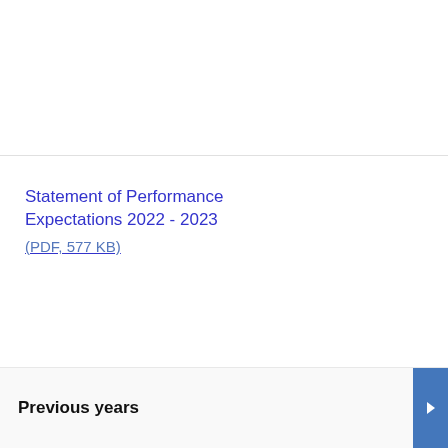Statement of Performance Expectations 2022 - 2023
(PDF, 577 KB)
Previous years